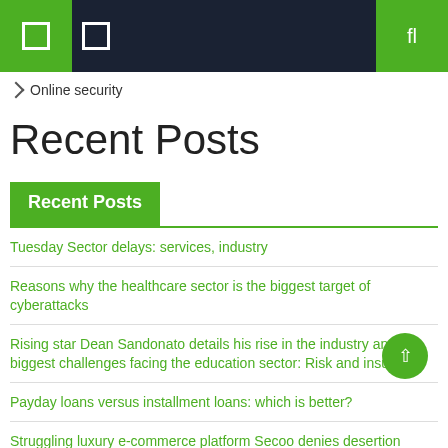Online security
Recent Posts
Recent Posts
Tuesday Sector delays: services, industry
Reasons why the healthcare sector is the biggest target of cyberattacks
Rising star Dean Sandonato details his rise in the industry and the biggest challenges facing the education sector: Risk and insurance
Payday loans versus installment loans: which is better?
Struggling luxury e-commerce platform Secoo denies desertion